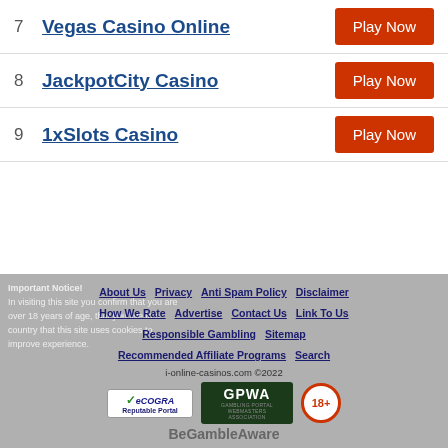7  Vegas Casino Online  Play Now
8  JackpotCity Casino  Play Now
9  1xSlots Casino  Play Now
About Us  Privacy  Anti Spam Policy  Disclaimer  How We Rate  Advertise  Contact Us  Link To Us  Responsible Gambling  Sitemap  Recommended Affiliate Programs  Search
i-online-casinos.com ©2022
BeGambleAware
Important Notice! In visiting this site you confirm that your are over 18 years of age, that you live in a country that this site uses cookies to improve experience.